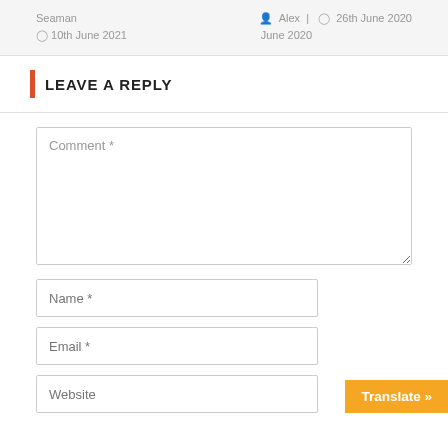Seaman
10th June 2021
Alex | 26th June 2020
LEAVE A REPLY
Comment *
Name *
Email *
Website
Translate »